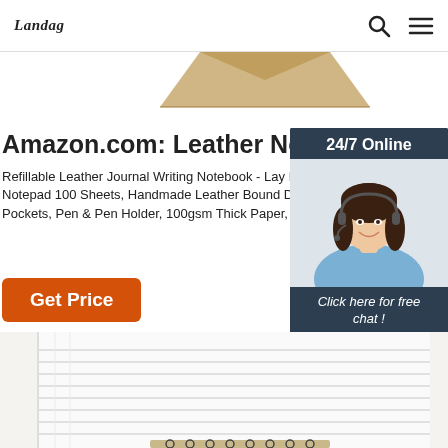Landag [logo] | search icon | menu icon
[Figure (photo): Partial view of a kraft/tan colored notebook or envelope at the top center of the page]
Amazon.com: Leather Notebook C
Refillable Leather Journal Writing Notebook - Lay Flat Notepad 100 Sheets, Handmade Leather Bound Diar Pockets, Pen & Pen Holder, 100gsm Thick Paper, A5
[Figure (infographic): 24/7 Online customer service chat widget with photo of smiling woman with headset, 'Click here for free chat!' text, and orange QUOTATION button]
Get Price
[Figure (photo): Close-up photo of open lined notebook pages with spiral binding visible at bottom, photographed from above at an angle]